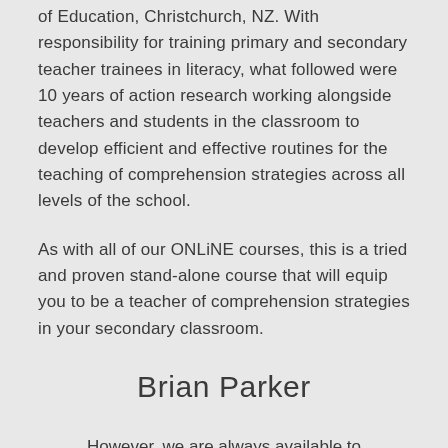of Education, Christchurch, NZ. With responsibility for training primary and secondary teacher trainees in literacy, what followed were 10 years of action research working alongside teachers and students in the classroom to develop efficient and effective routines for the teaching of comprehension strategies across all levels of the school.
As with all of our ONLiNE courses, this is a tried and proven stand-alone course that will equip you to be a teacher of comprehension strategies in your secondary classroom.
Brian Parker
However, we are always available to discuss your